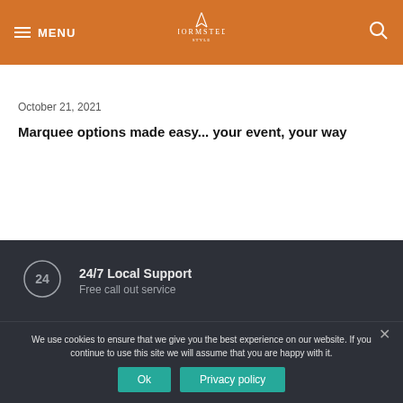MENU | HORMSTED [logo] [search icon]
October 21, 2021
Marquee options made easy... your event, your way
24/7 Local Support
Free call out service
We use cookies to ensure that we give you the best experience on our website. If you continue to use this site we will assume that you are happy with it.